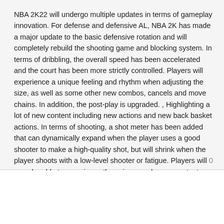NBA 2K22 will undergo multiple updates in terms of gameplay innovation. For defense and defensive AL, NBA 2K has made a major update to the basic defensive rotation and will completely rebuild the shooting game and blocking system. In terms of dribbling, the overall speed has been accelerated and the court has been more strictly controlled. Players will experience a unique feeling and rhythm when adjusting the size, as well as some other new combos, cancels and move chains. In addition, the post-play is upgraded. , Highlighting a lot of new content including new actions and new back basket actions. In terms of shooting, a shot meter has been added that can dynamically expand when the player uses a good shooter to make a high-quality shot, but will shrink when the player shoots with a low-level shooter or fatigue. Players will soon be able to experience these improved game content, and it is expected that NBA 2K22 will definitely bring players a new sense of gaming experience. If you need to Buy NBA 2K22 MT at that time, you can go to UTnice. With NBA 2K22 MT, it will help you play better. As a safe and reliable third-party game service provider, UTnice will provide players with NBA 2K22 MT after the game is launched. They will then sell NBA 2K22 MT at the lowest price on the market. You can keep an eye on UTnice.
0
Страница:  1
создать форум